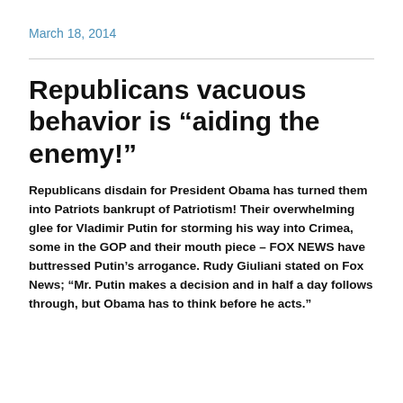March 18, 2014
Republicans vacuous behavior is “aiding the enemy!”
Republicans disdain for President Obama has turned them into Patriots bankrupt of Patriotism! Their overwhelming glee for Vladimir Putin for storming his way into Crimea, some in the GOP and their mouth piece – FOX NEWS have buttressed Putin’s arrogance. Rudy Giuliani stated on Fox News; “Mr. Putin makes a decision and in half a day follows through, but Obama has to think before he acts.”